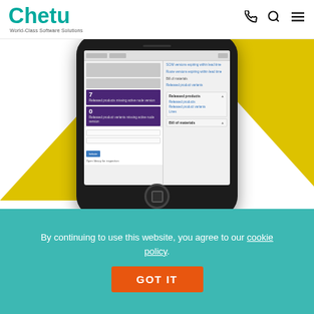Chetu World-Class Software Solutions
[Figure (screenshot): Mobile phone (smartphone) mockup displaying a software dashboard with purple UI panels showing numbered items and product data, set against a yellow/white triangular background. The phone shows a case management or inventory software interface.]
Case Study: Custom Software For Workers' Compensation Case Management
By continuing to use this website, you agree to our cookie policy.
GOT IT